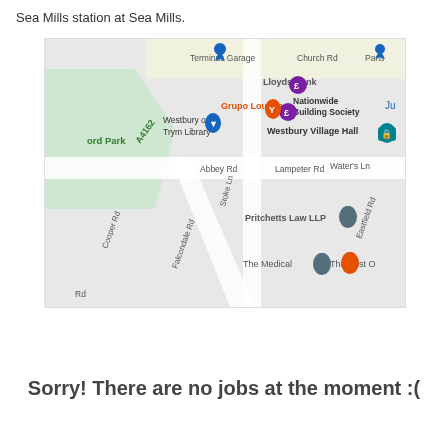Sea Mills station at Sea Mills.
[Figure (map): Google Maps view of Westbury-on-Trym area showing roads including Abbey Rd, Lampeter Rd, Stoke Ln, Cooper Rd, Falcondale Rd, Eastfield Rd, Waters Ln, Church Rd; landmarks including Terminus Garage, Lloyds Bank, Nationwide Building Society, Grupo Lounge, Westbury on Trym Library, Westbury Village Hall, Pritchetts Law LLP, The Medical, The Post Office; road A4162; and park area (ord Park).]
Sorry! There are no jobs at the moment :(